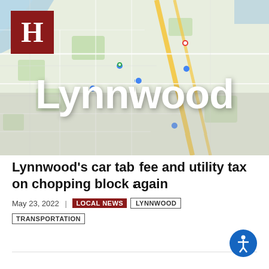[Figure (map): Google Maps view of Lynnwood, Washington area with the word 'Lynnwood' overlaid in large white bold text. A red Herald H logo is in the upper left corner.]
Lynnwood's car tab fee and utility tax on chopping block again
May 23, 2022  |  LOCAL NEWS  LYNNWOOD  TRANSPORTATION